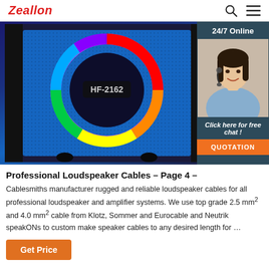Zeallon
[Figure (photo): Close-up photo of a blue Zeallon HF-2162 Bluetooth speaker with rainbow RGB LED ring light on the speaker grille]
[Figure (photo): 24/7 Online chat widget showing a woman wearing a headset smiling, with 'Click here for free chat!' text and an orange QUOTATION button]
Professional Loudspeaker Cables – Page 4 –
Cablesmiths manufacturer rugged and reliable loudspeaker cables for all professional loudspeaker and amplifier systems. We use top grade 2.5 mm² and 4.0 mm² cable from Klotz, Sommer and Eurocable and Neutrik speakONs to custom make speaker cables to any desired length for …
Get Price